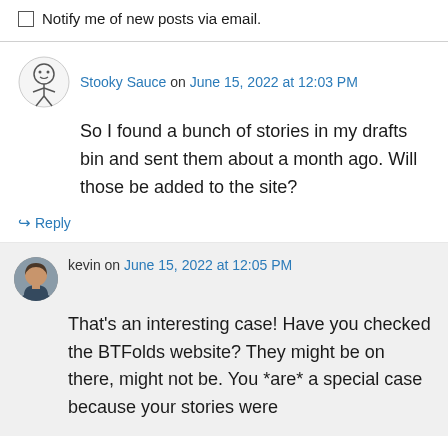Notify me of new posts via email.
Stooky Sauce on June 15, 2022 at 12:03 PM
So I found a bunch of stories in my drafts bin and sent them about a month ago. Will those be added to the site?
Reply
kevin on June 15, 2022 at 12:05 PM
That’s an interesting case! Have you checked the BTFolds website? They might be on there, might not be. You *are* a special case because your stories were